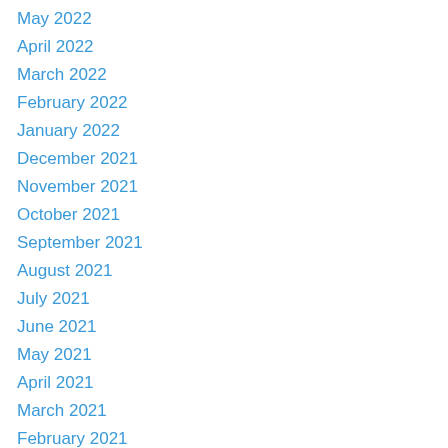May 2022
April 2022
March 2022
February 2022
January 2022
December 2021
November 2021
October 2021
September 2021
August 2021
July 2021
June 2021
May 2021
April 2021
March 2021
February 2021
January 2021
October 2020
May 2020
April 2020